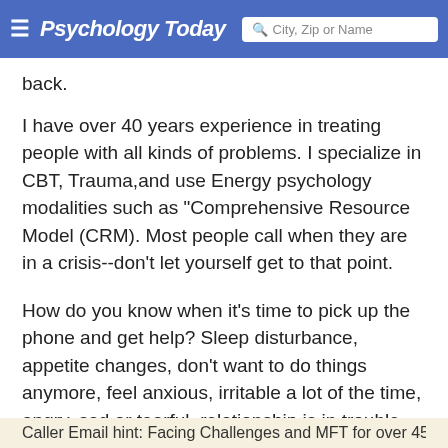Psychology Today | City, Zip or Name
back.
I have over 40 years experience in treating people with all kinds of problems. I specialize in CBT, Trauma,and use Energy psychology modalities such as "Comprehensive Resource Model (CRM). Most people call when they are in a crisis--don't let yourself get to that point.
How do you know when it's time to pick up the phone and get help? Sleep disturbance, appetite changes, don't want to do things anymore, feel anxious, irritable a lot of the time, angry, sad or tearful, relationship is in trouble, children are "out of control", drugs and/or alcohol, and trauma
Caller Email hint: Facing Challenges and MFT for over 45